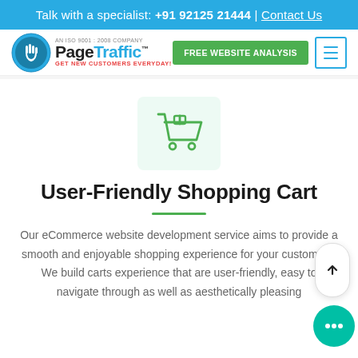Talk with a specialist: +91 92125 21444 | Contact Us
[Figure (logo): PageTraffic logo with hand cursor icon, ISO 9001:2008 company badge, tagline GET NEW CUSTOMERS EVERYDAY!]
[Figure (other): FREE WEBSITE ANALYSIS green button and hamburger menu button]
[Figure (illustration): Green shopping cart icon on light green background]
User-Friendly Shopping Cart
Our eCommerce website development service aims to provide a smooth and enjoyable shopping experience for your customers. We build carts experienced that are user-friendly, easy to navigate through as well as aesthetically pleasing